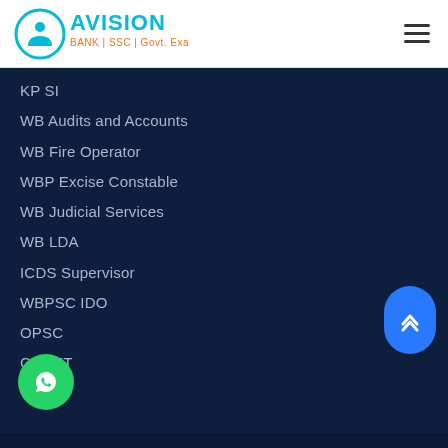[Figure (logo): Avision logo with circular icon and text 'AVISION BANK | SSC | Govt. Exams' in cyan/blue]
KP SI
WB Audits and Accounts
WB Fire Operator
WBP Excise Constable
WB Judicial Services
WB LDA
ICDS Supervisor
WBPSC IDO
OPSC
CUCET